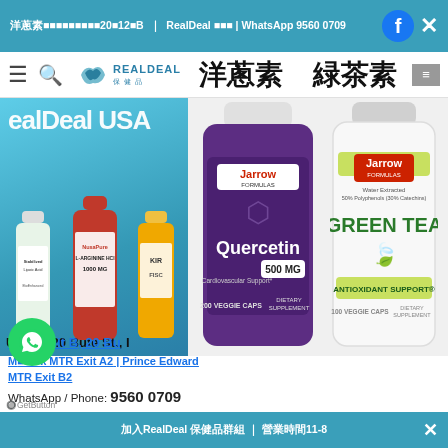洋蔥素20包12粒B | RealDeal 保健品 | WhatsApp 9560 0709
[Figure (screenshot): Mobile website screenshot showing RealDeal USA health supplement store with product bottles including Jarrow Formulas Quercetin 500mg and Green Tea supplements, with Chinese text labels 洋蔥素 and 緑茶素]
12/F, Unit B, 20 Bu
Mong Kok MTR Exit A2 | Prince Edward MTR Exit B2
WhatsApp / Phone: 9560 0709
加入RealDeal 保健品群組 | 營業時間11-8